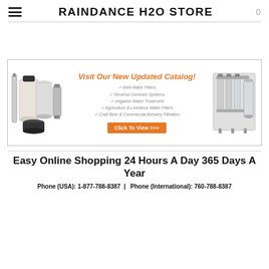RAINDANCE H2O STORE
[Figure (illustration): Promotional banner for Raindance H2O water filter catalog featuring water filtration equipment on left and right sides, orange headline 'Visit Our New Updated Catalog!', checklist of products (Well Water Filters, Reverse Osmosis Systems, Irrigation Water Treatment, Agriculture & Livestock Water Filters, Craft Beer & Commercial Brewery Filtration), and an orange 'Click To View >>>' button.]
Easy Online Shopping 24 Hours A Day 365 Days A Year
Phone (USA): 1-877-788-8387  |  Phone (International): 760-788-8387